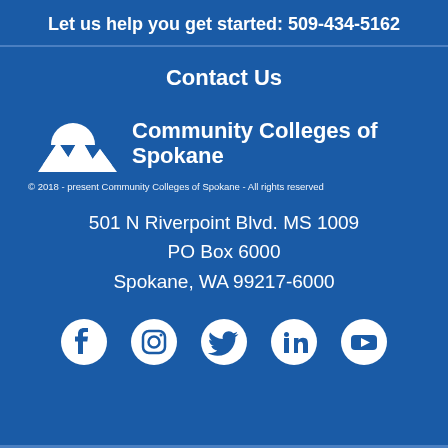Let us help you get started: 509-434-5162
Contact Us
[Figure (logo): Community Colleges of Spokane logo with mountain/sun icon and college name]
© 2018 - present Community Colleges of Spokane - All rights reserved
501 N Riverpoint Blvd. MS 1009
PO Box 6000
Spokane, WA 99217-6000
[Figure (infographic): Social media icons: Facebook, Instagram, Twitter, LinkedIn, YouTube]